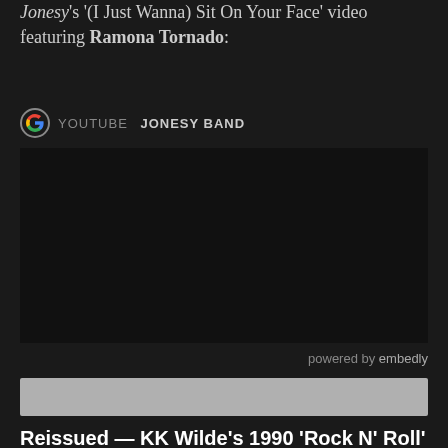Jonesy's '(I Just Wanna) Sit On Your Face' video featuring Ramona Tornado:
[Figure (screenshot): YouTube / Google link widget showing 'YOUTUBE  JONESY BAND' with Google icon, and a dark embedded video placeholder area with 'powered by embedly' label]
[Figure (other): Grey horizontal bar, likely an advertisement or image placeholder]
Reissued — KK Wilde's 1990 'Rock N' Roll' and 1991 'Cocaine Cowboy'